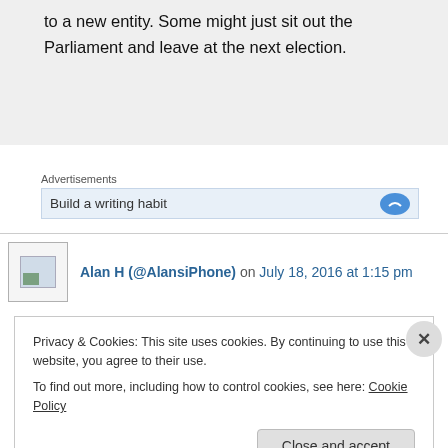to a new entity. Some might just sit out the Parliament and leave at the next election.
Advertisements
Build a writing habit
Alan H (@AlansiPhone) on July 18, 2016 at 1:15 pm
Privacy & Cookies: This site uses cookies. By continuing to use this website, you agree to their use.
To find out more, including how to control cookies, see here: Cookie Policy
Close and accept